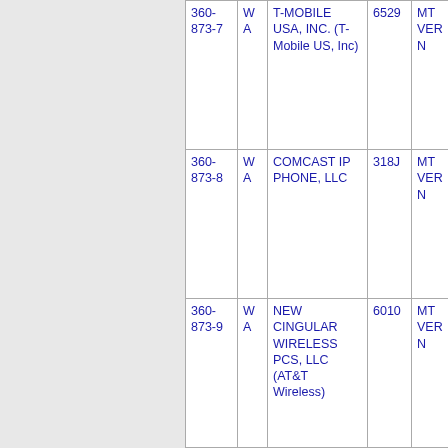| Number | State | Company | ID | City |
| --- | --- | --- | --- | --- |
| 360-873-7 | WA | T-MOBILE USA, INC. (T-Mobile US, Inc) | 6529 | MT VERN... |
| 360-873-8 | WA | COMCAST IP PHONE, LLC | 318J | MT VERN... |
| 360-873-9 | WA | NEW CINGULAR WIRELESS PCS, LLC (AT&T Wireless) | 6010 | MT VERN... |